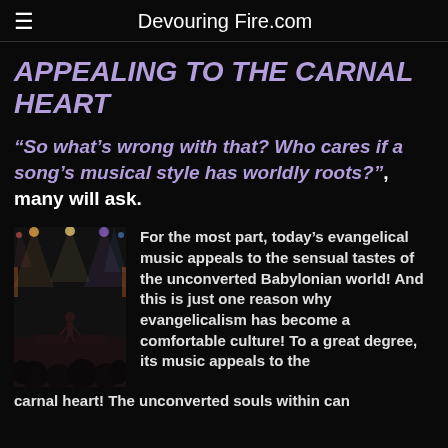≡  Devouring Fire.com
APPEALING TO THE CARNAL HEART
“So what’s wrong with that? Who cares if a song’s musical style has worldly roots?”, many will ask.
[Figure (photo): Concert scene with performer on stage, stage lights, and crowd in foreground, dark venue]
For the most part, today’s evangelical music appeals to the sensual tastes of the unconverted Babylonian world! And this is just one reason why evangelicalism has become a comfortable culture! To a great degree, its music appeals to the carnal heart! The unconverted souls within can